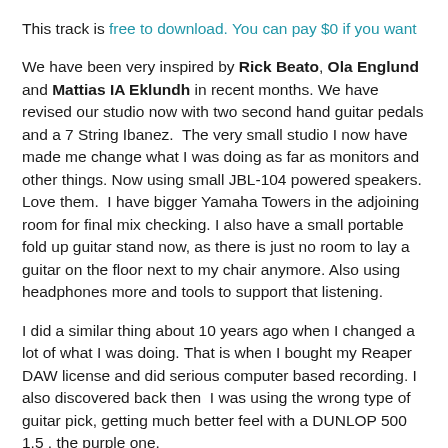This track is free to download. You can pay $0 if you want
We have been very inspired by Rick Beato, Ola Englund and Mattias IA Eklundh in recent months. We have revised our studio now with two second hand guitar pedals and a 7 String Ibanez.  The very small studio I now have made me change what I was doing as far as monitors and other things. Now using small JBL-104 powered speakers. Love them.  I have bigger Yamaha Towers in the adjoining room for final mix checking. I also have a small portable fold up guitar stand now, as there is just no room to lay a guitar on the floor next to my chair anymore. Also using headphones more and tools to support that listening.
I did a similar thing about 10 years ago when I changed a lot of what I was doing. That is when I bought my Reaper DAW license and did serious computer based recording. I also discovered back then  I was using the wrong type of guitar pick, getting much better feel with a DUNLOP 500 1.5 , the purple one.
I used DROP D back then, but this track is using my Squire